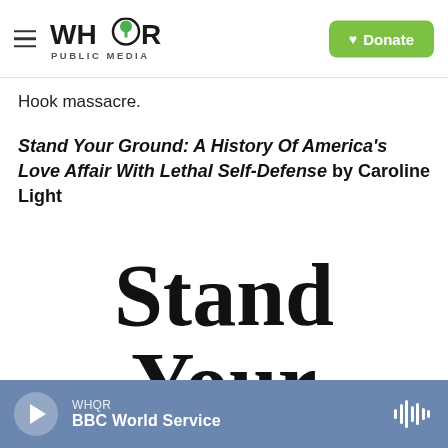WHQR PUBLIC MEDIA | Donate
Hook massacre.
Stand Your Ground: A History Of America's Love Affair With Lethal Self-Defense by Caroline Light
[Figure (illustration): Book cover image showing large bold serif text reading 'Stand Your' with partial text below, black text on white background]
WHQR | BBC World Service